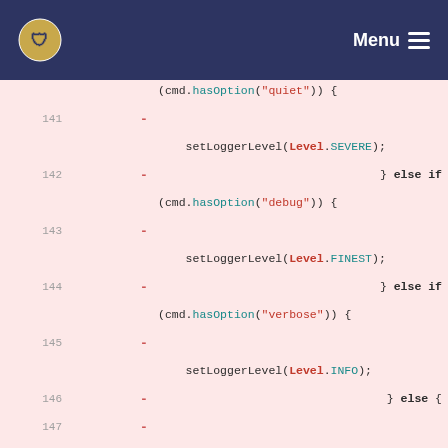Menu
[Figure (screenshot): Code diff view showing Java code lines 141-148. Removed lines (pink background) show if-else chain for quiet/debug/verbose options. Added lines (green background) show setLoggerLevel(Level.WARNING) with Default Level comment, and if (cmd.hasOption("loglevel")) {]